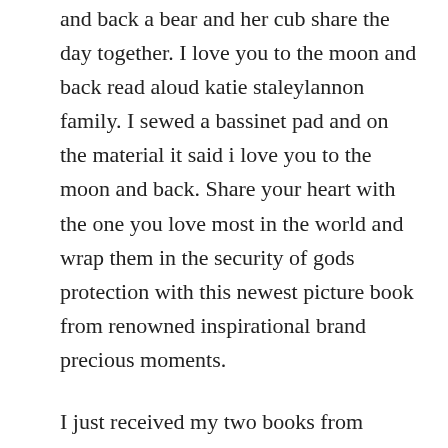and back a bear and her cub share the day together. I love you to the moon and back read aloud katie staleylannon family. I sewed a bassinet pad and on the material it said i love you to the moon and back. Share your heart with the one you love most in the world and wrap them in the security of gods protection with this newest picture book from renowned inspirational brand precious moments.
I just received my two books from amazon, love you to the moon and back, and glory in the morning. My bookmarks cross stitch